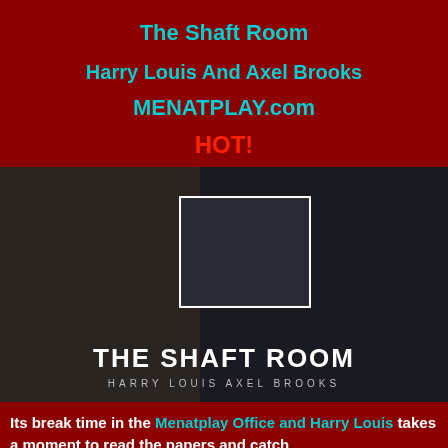The Shaft Room
Harry Louis And Axel Brooks
MENATPLAY.com
HOT!
[Figure (photo): Photo showing two men in suits in a dark room, with an inset photo of two men together. Text overlay reads 'THE SHAFT ROOM' with 'HARRY LOUIS' and 'AXEL BROOKS' below.]
Its break time in the Menatplay Office and Harry Louis takes a moment to read the papers and catch